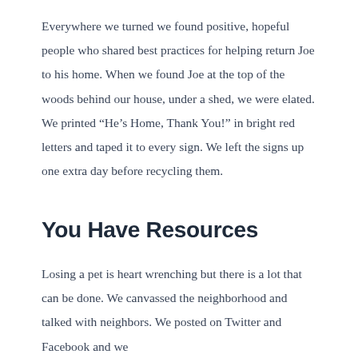Everywhere we turned we found positive, hopeful people who shared best practices for helping return Joe to his home. When we found Joe at the top of the woods behind our house, under a shed, we were elated. We printed “He’s Home, Thank You!” in bright red letters and taped it to every sign. We left the signs up one extra day before recycling them.
You Have Resources
Losing a pet is heart wrenching but there is a lot that can be done. We canvassed the neighborhood and talked with neighbors. We posted on Twitter and Facebook and we